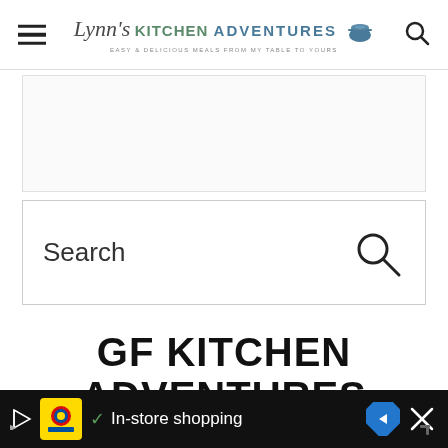Lynn's Kitchen Adventures — Easy & Delicious Meals From My Table To Yours
[Figure (screenshot): Advertisement placeholder area (banner ad space)]
Search
GF KITCHEN ADVENTURES GLUTEN FREE AND
[Figure (screenshot): Bottom ad banner: Lidl In-store shopping advertisement with play button, checkmark, navigation arrow, and close button]